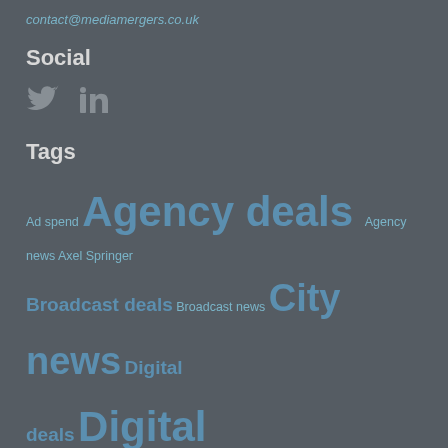contact@mediamergers.co.uk
Social
[Figure (illustration): Twitter bird icon and LinkedIn 'in' icon in grey]
Tags
Ad spend Agency deals Agency news Axel Springer Broadcast deals Broadcast news City news Digital deals Digital disruption Digital media DMGT Euromoney Event deals Exhibition deals Exhibition launches Facebook Future Google GroupM Havas Hearst Informa Information deals IPG ITE Kantar Magazine closures Magazine deals Magazine launches Magazine news media economy